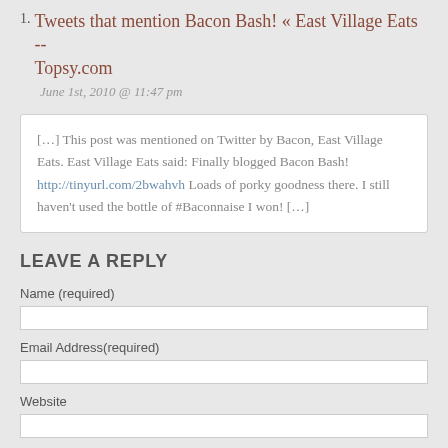Tweets that mention Bacon Bash! « East Village Eats -- Topsy.com
June 1st, 2010 @ 11:47 pm
[…] This post was mentioned on Twitter by Bacon, East Village Eats. East Village Eats said: Finally blogged Bacon Bash! http://tinyurl.com/2bwahvh Loads of porky goodness there. I still haven't used the bottle of #Baconnaise I won! […]
LEAVE A REPLY
Name (required)
Email Address(required)
Website
Comments